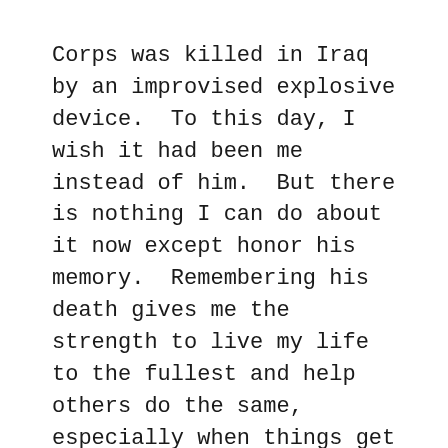Corps was killed in Iraq by an improvised explosive device.  To this day, I wish it had been me instead of him.  But there is nothing I can do about it now except honor his memory.  Remembering his death gives me the strength to live my life to the fullest and help others do the same, especially when things get tough.  If I was meant to live and he was not, then I must prove to myself that there is worth to my life.  His death continues to help me give meaning to my life.
My own encounters with the grim reaper have only reinforced that meaning.
By learning how to die, I have learned how